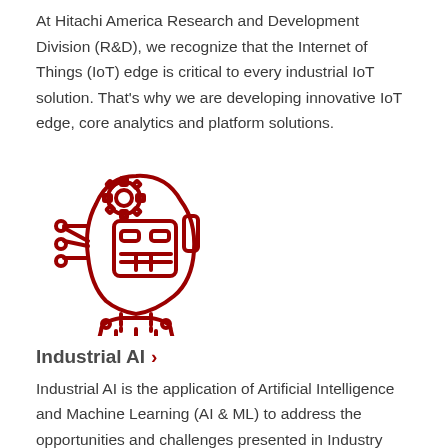At Hitachi America Research and Development Division (R&D), we recognize that the Internet of Things (IoT) edge is critical to every industrial IoT solution. That's why we are developing innovative IoT edge, core analytics and platform solutions.
[Figure (illustration): Red line-art icon of a robotic/AI humanoid head with gear and circuit elements, representing Industrial AI]
Industrial AI ›
Industrial AI is the application of Artificial Intelligence and Machine Learning (AI & ML) to address the opportunities and challenges presented in Industry 4.0. This is an important area of research that is gaining prominence due to the ever-increasing number of connected equipment